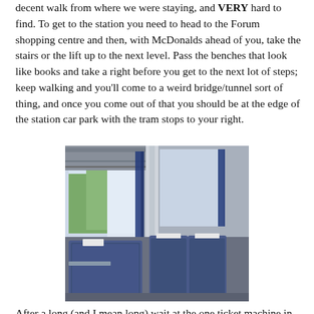decent walk from where we were staying, and VERY hard to find. To get to the station you need to head to the Forum shopping centre and then, with McDonalds ahead of you, take the stairs or the lift up to the next level. Pass the benches that look like books and take a right before you get to the next lot of steps; keep walking and you'll come to a weird bridge/tunnel sort of thing, and once you come out of that you should be at the edge of the station car park with the tram stops to your right.
[Figure (photo): Interior of a train carriage showing blue patterned seats with white headrest covers, large windows with blue curtains, and overhead luggage racks. View is taken from a seat looking towards other seats.]
After a long (and I mean long) wait at the one ticket machine in the main area of the station, we had purchased our tickets to Sopot